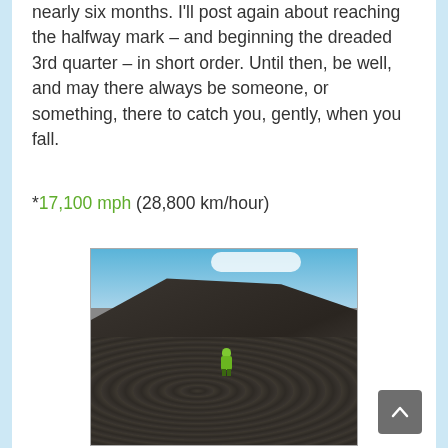nearly six months. I'll post again about reaching the halfway mark – and beginning the dreaded 3rd quarter – in short order. Until then, be well, and may there always be someone, or something, there to catch you, gently, when you fall.
*17,100 mph (28,800 km/hour)
[Figure (photo): Person in a bright green spacesuit/hazmat suit walking across dark volcanic lava fields with a rocky hillside and blue sky with clouds in the background.]
Andrzej Stewart walks across the lava fields.